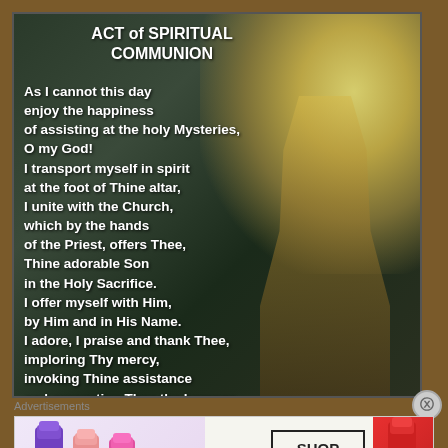[Figure (illustration): Religious image with a glowing golden light and a figure silhouette, serving as background for the Act of Spiritual Communion prayer text.]
ACT of SPIRITUAL COMMUNION
As I cannot this day enjoy the happiness of assisting at the holy Mysteries, O my God! I transport myself in spirit at the foot of Thine altar, I unite with the Church, which by the hands of the Priest, offers Thee, Thine adorable Son in the Holy Sacrifice. I offer myself with Him, by Him and in His Name. I adore, I praise and thank Thee, imploring Thy mercy, invoking Thine assistance and presenting Thee the homage I owe Thee as my Creator.
Advertisements
[Figure (photo): MAC cosmetics advertisement banner showing lipsticks in purple, pink tones, MAC logo, SHOP NOW button, and a red lipstick on the right.]